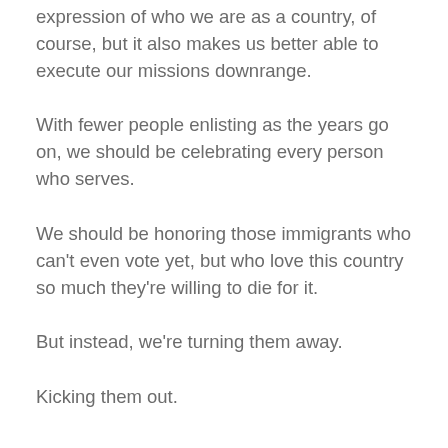expression of who we are as a country, of course, but it also makes us better able to execute our missions downrange.
With fewer people enlisting as the years go on, we should be celebrating every person who serves.
We should be honoring those immigrants who can't even vote yet, but who love this country so much they're willing to die for it.
But instead, we're turning them away.
Kicking them out.